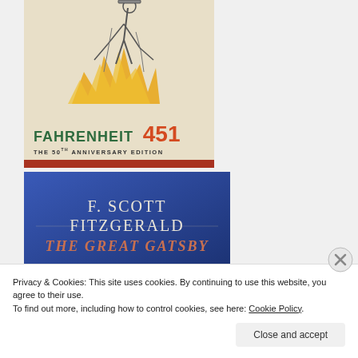[Figure (illustration): Book cover of Fahrenheit 451 - The 50th Anniversary Edition. Features a sketch of a figure walking with flames in yellow/orange, against a cream background with green and red title text.]
[Figure (illustration): Book cover of The Great Gatsby by F. Scott Fitzgerald. Blue background with white uppercase serif text for author name and pinkish-red text for the title.]
Privacy & Cookies: This site uses cookies. By continuing to use this website, you agree to their use.
To find out more, including how to control cookies, see here: Cookie Policy